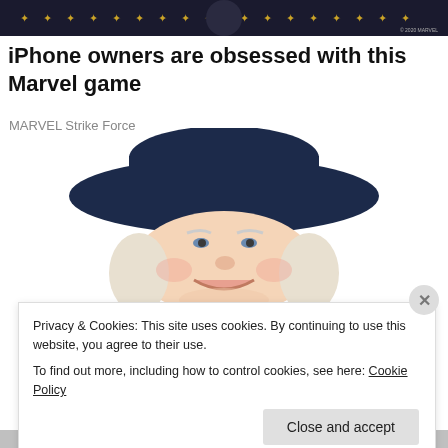[Figure (screenshot): Dark banner with golden star decorations and a Marvel character silhouette in the center, with © 2020 MARVEL copyright text in the top right corner.]
iPhone owners are obsessed with this Marvel game
MARVEL Strike Force
[Figure (illustration): Quaker Oats man illustration: a friendly older man with white curly hair wearing a wide-brimmed dark navy hat, smiling.]
Privacy & Cookies: This site uses cookies. By continuing to use this website, you agree to their use.
To find out more, including how to control cookies, see here: Cookie Policy
Close and accept